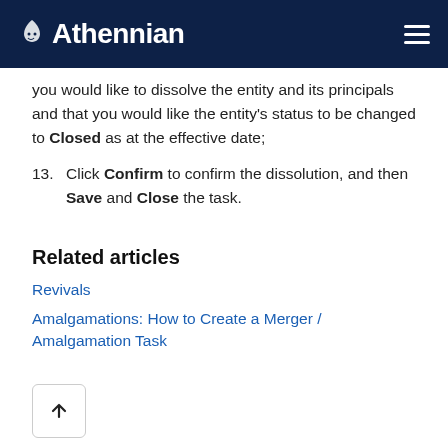Athennian
you would like to dissolve the entity and its principals and that you would like the entity's status to be changed to Closed as at the effective date;
13. Click Confirm to confirm the dissolution, and then Save and Close the task.
Related articles
Revivals
Amalgamations: How to Create a Merger / Amalgamation Task